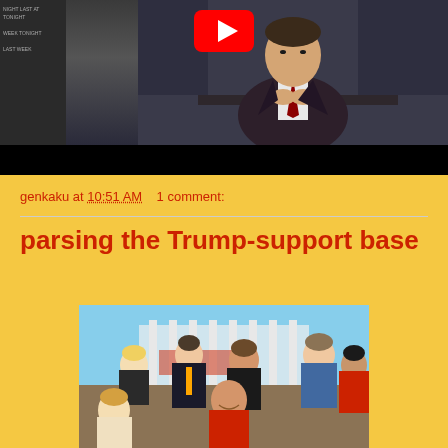[Figure (screenshot): YouTube video thumbnail showing a TV show host in a dark suit and red tie sitting at a desk in a studio. A YouTube play button is visible at top center. Left sidebar shows show schedule text.]
genkaku at 10:51 AM    1 comment:
parsing the Trump-support base
[Figure (photo): Group photo of approximately 6-7 people standing together, appearing to be Trump supporters. Background shows what appears to be the White House. People are dressed casually to semi-formally.]